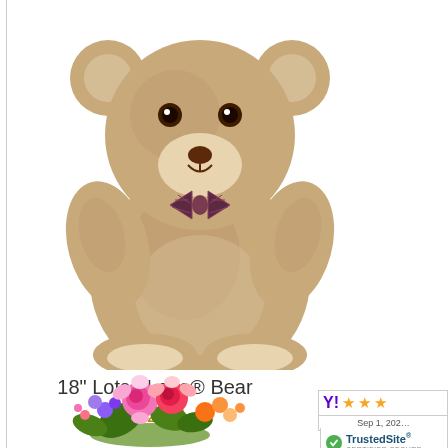[Figure (photo): A light brown fluffy teddy bear (18 inch Lotsa Love Bear) sitting upright with a plaid bow tie, on white background]
18" Lotsa Love® Bear
$22.99
[Figure (other): Yahoo shopping rating badge showing 3 stars, dated Sep 1, 202X]
[Figure (other): TrustedSite CERTIFIED SECURE badge]
[Figure (photo): Colorful flower bouquet with pink roses and mixed flowers at bottom of page]